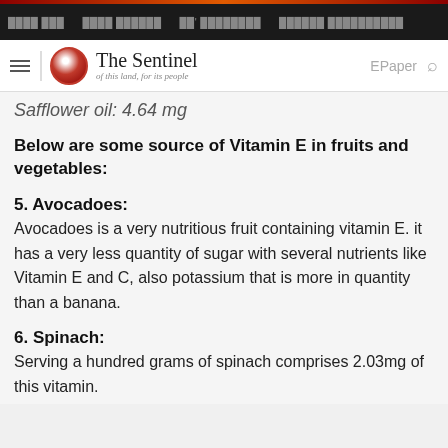The Sentinel — of this land, for its people
Safflower oil: 4.64 mg
Below are some source of Vitamin E in fruits and vegetables:
5. Avocadoes:
Avocadoes is a very nutritious fruit containing vitamin E. it has a very less quantity of sugar with several nutrients like Vitamin E and C, also potassium that is more in quantity than a banana.
6. Spinach:
Serving a hundred grams of spinach comprises 2.03mg of this vitamin.